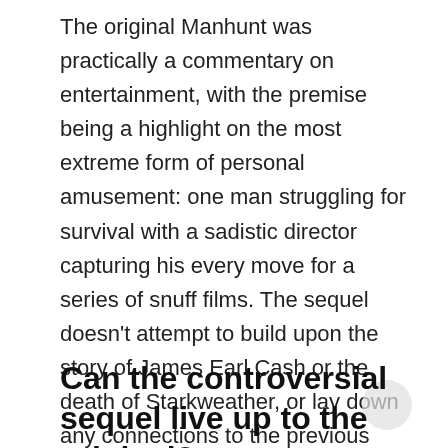The original Manhunt was practically a commentary on entertainment, with the premise being a highlight on the most extreme form of personal amusement: one man struggling for survival with a sadistic director capturing his every move for a series of snuff films. The sequel doesn't attempt to build upon the story of James Earl Cash or the death of Starkweather, or lay down any connections to the previous title. Instead, it approaches a completely new subject matter, which appears slightly influenced by The Manchurian Candidate as well as fellow titles like The Suffering. While I won't give away any plot spoilers, the story covers everything from mind control and personality manipulation to secret medical projects, mental flashbacks and internal behavioral struggles. Accident
Can the controversial sequel live up to the original?